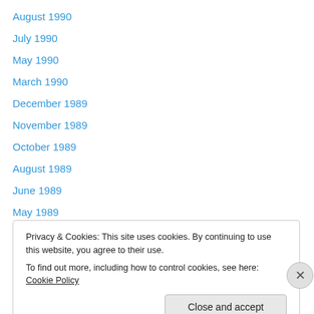August 1990
July 1990
May 1990
March 1990
December 1989
November 1989
October 1989
August 1989
June 1989
May 1989
March 1989
February 1989
December 1988
Privacy & Cookies: This site uses cookies. By continuing to use this website, you agree to their use. To find out more, including how to control cookies, see here: Cookie Policy